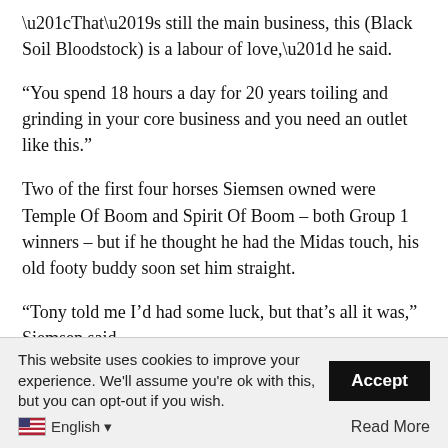“That’s still the main business, this (Black Soil Bloodstock) is a labour of love,” he said.
“You spend 18 hours a day for 20 years toiling and grinding in your core business and you need an outlet like this.”
Two of the first four horses Siemsen owned were Temple Of Boom and Spirit Of Boom – both Group 1 winners – but if he thought he had the Midas touch, his old footy buddy soon set him straight.
“Tony told me I’d had some luck, but that’s all it was,” Siemsen said.
“He said if I was going to do this commercially, I had a lot to learn. He said following him around for a week once a year…
This website uses cookies to improve your experience. We’ll assume you’re ok with this, but you can opt-out if you wish.
English ▾
Read More